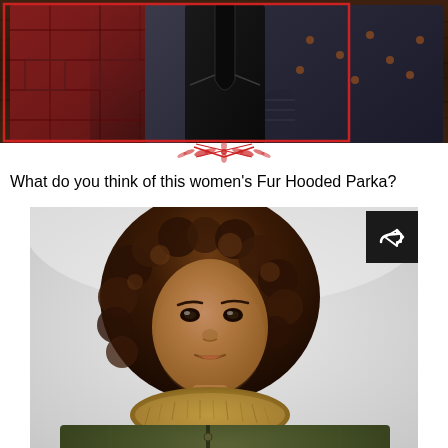[Figure (photo): Top portion showing multiple women's jackets/coats hanging on a wooden wall, with a red border box overlay and a decorative crossed-arrows ornament in red at the bottom of the image section]
What do you think of this women's Fur Hooded Parka?
[Figure (photo): A young woman with curly brown hair wearing an olive green fur-hooded parka with a mustard/gold fur trim collar, photographed against a light gray background. A dark share button with a share icon is in the top right corner of the image.]